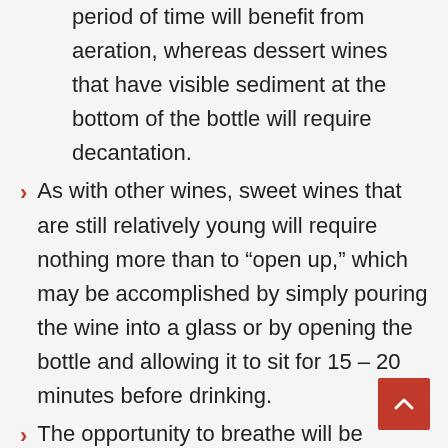period of time will benefit from aeration, whereas dessert wines that have visible sediment at the bottom of the bottle will require decantation.
As with other wines, sweet wines that are still relatively young will require nothing more than to “open up,” which may be accomplished by simply pouring the wine into a glass or by opening the bottle and allowing it to sit for 15 – 20 minutes before drinking.
The opportunity to breathe will be required for sweet dessert wines that are moretannic (tannin may be a bitter astringent in wines that are young and